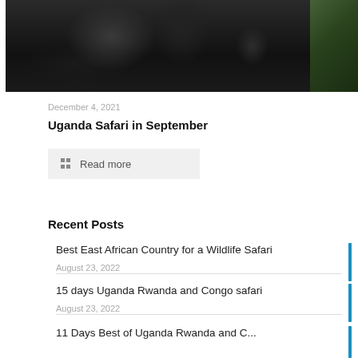[Figure (photo): Close-up photo of a black gorilla/primate with dark fur, partially visible against green foliage background]
December 4, 2021
Uganda Safari in September
Read more
Recent Posts
Best East African Country for a Wildlife Safari
August 23, 2022
15 days Uganda Rwanda and Congo safari
August 23, 2022
11 Days Best of Uganda Rwanda and C...